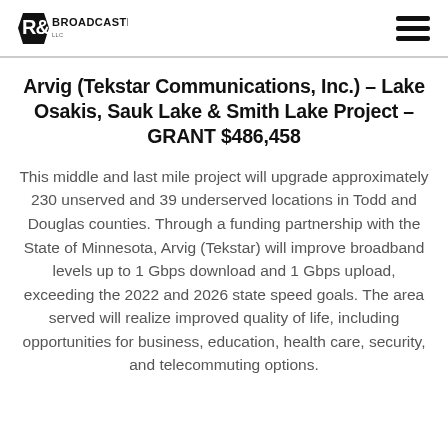R&J Broadcasting
Arvig (Tekstar Communications, Inc.) – Lake Osakis, Sauk Lake & Smith Lake Project – GRANT $486,458
This middle and last mile project will upgrade approximately 230 unserved and 39 underserved locations in Todd and Douglas counties. Through a funding partnership with the State of Minnesota, Arvig (Tekstar) will improve broadband levels up to 1 Gbps download and 1 Gbps upload, exceeding the 2022 and 2026 state speed goals. The area served will realize improved quality of life, including opportunities for business, education, health care, security, and telecommuting options.